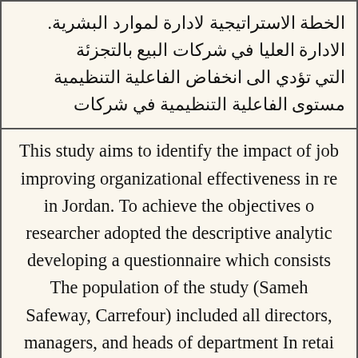الخطة الاستراتيجية لادارة لموارد البشرية. الادارة العليا في شركات البيع بالتجزئة التي تؤدي الى انخفاض الفاعلية التنظيمية مستوى الفاعلية التنظيمية في شركات
This study aims to identify the impact of job improving organizational effectiveness in re in Jordan. To achieve the objectives o researcher adopted the descriptive analytic developing a questionnaire which consists The population of the study (Sameh Safeway, Carrefour) included all directors, managers, and heads of department In retai Jordan listed in the Jordan Chamber of C researcher withdrew Random stratified s distributing (240) copies. A number of (225) were returned, while the valid questionnair